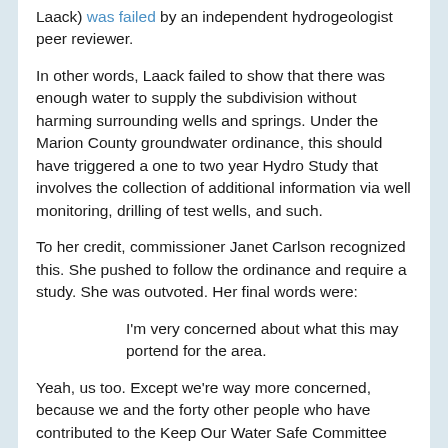Laack) was failed by an independent hydrogeologist peer reviewer.
In other words, Laack failed to show that there was enough water to supply the subdivision without harming surrounding wells and springs. Under the Marion County groundwater ordinance, this should have triggered a one to two year Hydro Study that involves the collection of additional information via well monitoring, drilling of test wells, and such.
To her credit, commissioner Janet Carlson recognized this. She pushed to follow the ordinance and require a study. She was outvoted. Her final words were:
I'm very concerned about what this may portend for the area.
Yeah, us too. Except we're way more concerned, because we and the forty other people who have contributed to the Keep Our Water Safe Committee live out here and depend on wells. Without water, our homes are virtually worthless.
But this didn't matter to Milne and Brentano, who have